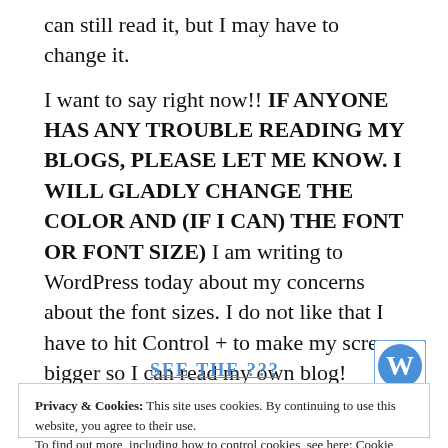can still read it, but I may have to change it.
I want to say right now!!  IF ANYONE HAS ANY TROUBLE READING MY BLOGS, PLEASE LET ME KNOW.  I WILL GLADLY CHANGE THE COLOR AND (IF I CAN) THE FONT OR FONT SIZE)  I am writing to WordPress today about my concerns about the font sizes.  I do not like that I have to hit Control + to make my screen bigger so I can read my own blog!
[Figure (other): Partial view of a blue underlined link text stub and a WordPress logo icon (blue W in a circle with white background)]
Privacy & Cookies: This site uses cookies. By continuing to use this website, you agree to their use. To find out more, including how to control cookies, see here: Cookie Policy
Close and accept